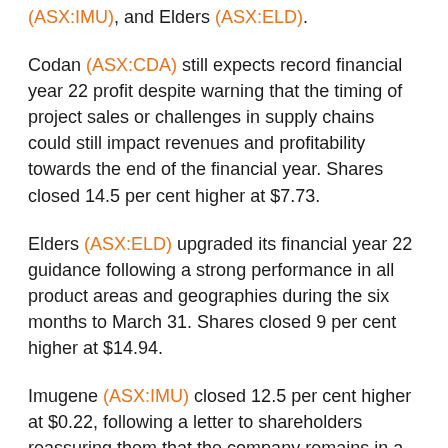(ASX:IMU), and Elders (ASX:ELD).
Codan (ASX:CDA) still expects record financial year 22 profit despite warning that the timing of project sales or challenges in supply chains could still impact revenues and profitability towards the end of the financial year. Shares closed 14.5 per cent higher at $7.73.
Elders (ASX:ELD) upgraded its financial year 22 guidance following a strong performance in all product areas and geographies during the six months to March 31. Shares closed 9 per cent higher at $14.94.
Imugene (ASX:IMU) closed 12.5 per cent higher at $0.22, following a letter to shareholders reassuring them that the company remains in a strong position despite its recent share price decline.